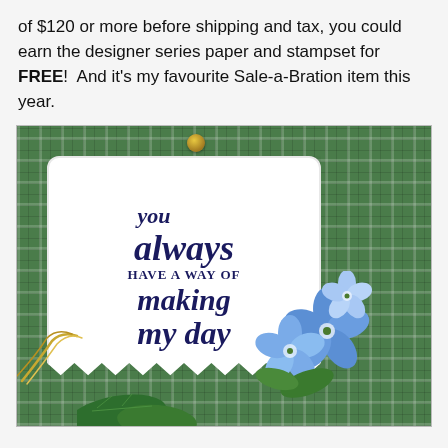of $120 or more before shipping and tax, you could earn the designer series paper and stampset for FREE!  And it's my favourite Sale-a-Bration item this year.
[Figure (photo): A handmade greeting card featuring a white scalloped tag on green plaid patterned paper. The tag has dark navy stamped script text reading 'you always HAVE A WAY OF making my day' with blue watercolor flowers in the bottom right corner, gold brad at the top, and gold twine on the left side. Green leaves are visible at the bottom.]